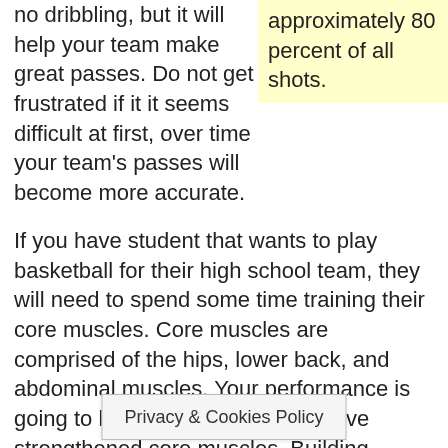approximately 80 percent of all shots.
no dribbling, but it will help your team make great passes. Do not get frustrated if it it seems difficult at first, over time your team's passes will become more accurate.
If you have student that wants to play basketball for their high school team, they will need to spend some time training their core muscles. Core muscles are comprised of the hips, lower back, and abdominal muscles. Your performance is going to be sub-par if you don't have strengthened core muscles. Building strong core muscles will allow your to jump higher, run faster and maintain your balance.
Hand signals will help you avoid those errant passes. You can become easily frustrated when a teammate does a poor job of anticipating your next passing move. The use of hand signals can help you avoid this difficulty. If no signal… not be
Privacy & Cookies Policy